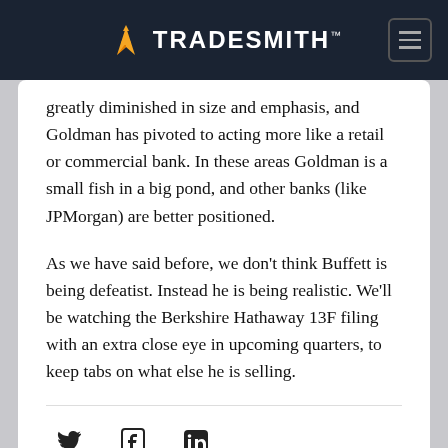TradeSmith
greatly diminished in size and emphasis, and Goldman has pivoted to acting more like a retail or commercial bank. In these areas Goldman is a small fish in a big pond, and other banks (like JPMorgan) are better positioned.
As we have said before, we don't think Buffett is being defeatist. Instead he is being realistic. We'll be watching the Berkshire Hathaway 13F filing with an extra close eye in upcoming quarters, to keep tabs on what else he is selling.
[Figure (other): Social media share icons: Twitter (bird), Facebook (f), LinkedIn (in)]